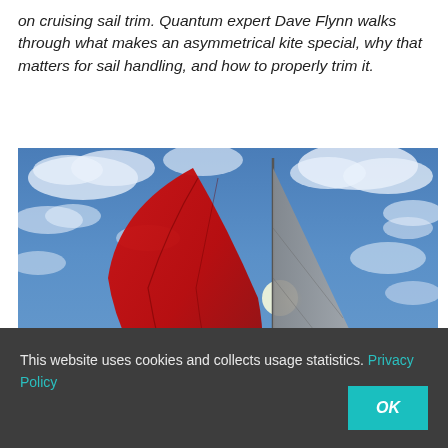on cruising sail trim. Quantum expert Dave Flynn walks through what makes an asymmetrical kite special, why that matters for sail handling, and how to properly trim it.
[Figure (photo): Photograph taken from below looking up at a sailboat's sails against a partly cloudy blue sky. A large red asymmetrical spinnaker sail is on the left, and a grey mainsail is on the right, with sunlight visible between them.]
This website uses cookies and collects usage statistics. Privacy Policy